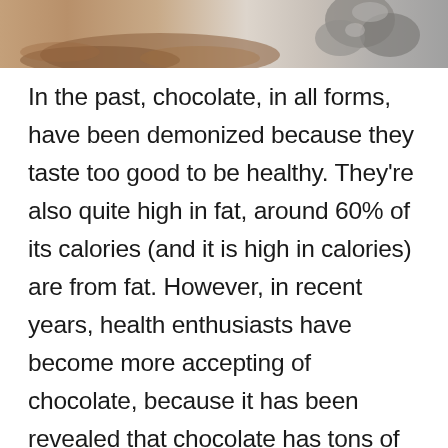[Figure (photo): Partial photo showing chocolate powder and chocolate pieces/truffles at the top of the page]
In the past, chocolate, in all forms, have been demonized because they taste too good to be healthy. They’re also quite high in fat, around 60% of its calories (and it is high in calories) are from fat. However, in recent years, health enthusiasts have become more accepting of chocolate, because it has been revealed that chocolate has tons of benefits that can effectively make you forget the fat amount in it.